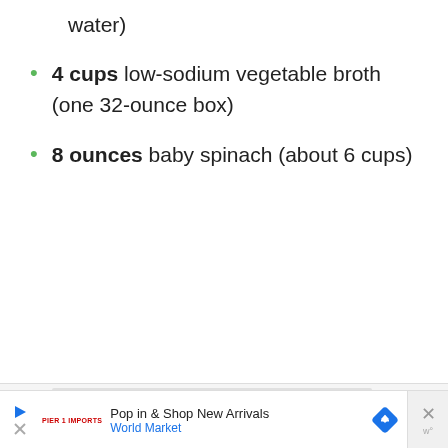water)
4 cups low-sodium vegetable broth (one 32-ounce box)
8 ounces baby spinach (about 6 cups)
[Figure (photo): Image carousel placeholder with navigation dots, showing a food photo (content not visible)]
[Figure (other): Advertisement banner: Pop in & Shop New Arrivals - World Market, with play button, logo, diamond navigation icon, and close button]